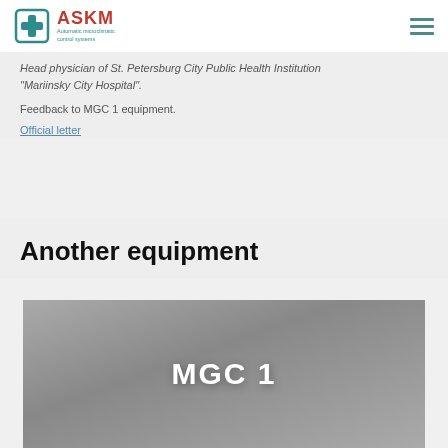ASKM — Automatic microclimatic control systems
Head physician of St. Petersburg City Public Health Institution "Mariinsky City Hospital".
Feedback to MGC 1 equipment.
Official letter
Another equipment
[Figure (photo): Gray image placeholder with bold white text 'MGC 1' centered]